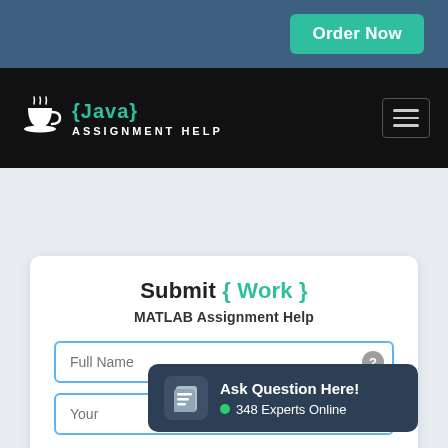Order Now
[Figure (logo): Java Assignment Help logo with coffee cup icon and curly braces around 'Java', white and teal on black background]
Submit { Work }
MATLAB Assignment Help
Full Name
Your
Ask Question Here! 348 Experts Online